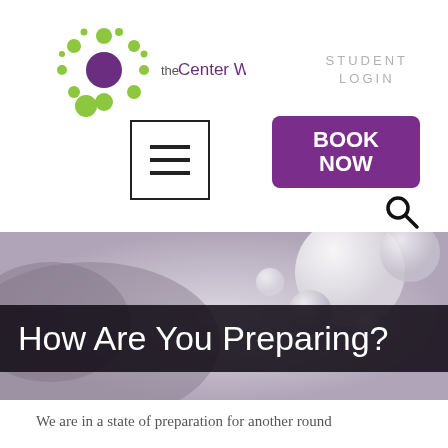[Figure (logo): The Center Within logo — green and purple dots arranged in a circular cluster pattern, with the text 'the Center Within' in purple]
STUDENT
LOGIN
[Figure (other): Purple 'BOOK NOW' button]
[Figure (other): Hamburger menu icon (three horizontal lines in a square border)]
[Figure (other): Search magnifying glass icon]
[Figure (photo): Blurred hero image of white/grey spherical bubbles or stones]
How Are You Preparing?
We are in a state of preparation for another round